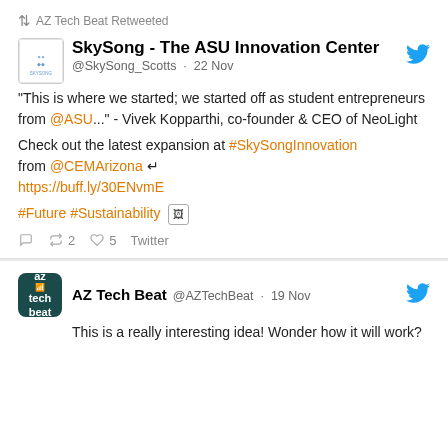AZ Tech Beat Retweeted
SkySong - The ASU Innovation Center
@SkySong_Scotts · 22 Nov
"This is where we started; we started off as student entrepreneurs from @ASU..." - Vivek Kopparthi, co-founder & CEO of NeoLight
Check out the latest expansion at #SkySongInnovation from @CEMArizona ↵ https://buff.ly/30ENvmE
#Future #Sustainability 🖼
🗨 ↺2 ♡5 Twitter
AZ Tech Beat @AZTechBeat · 19 Nov
This is a really interesting idea! Wonder how it will work?